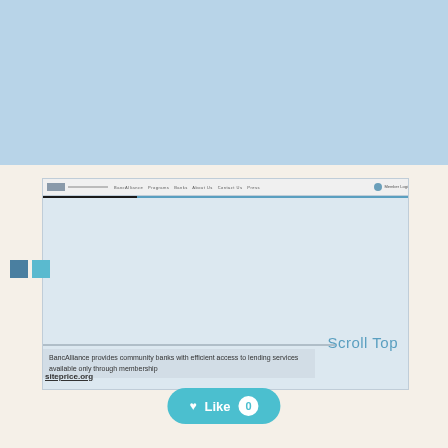[Figure (screenshot): Screenshot of a website (BancAlliance) showing an 'Unsupported viewing environment' message in a black box, a navigation bar at the top, and a 'Scroll Top' link in blue text. Below the screenshot is a description: 'BancAlliance provides community banks with efficient access to lending services available only through membership' and a siteprice.org link.]
Scroll Top
BancAlliance provides community banks with efficient access to lending services available only through membership
siteprice.org
♥ Like 0